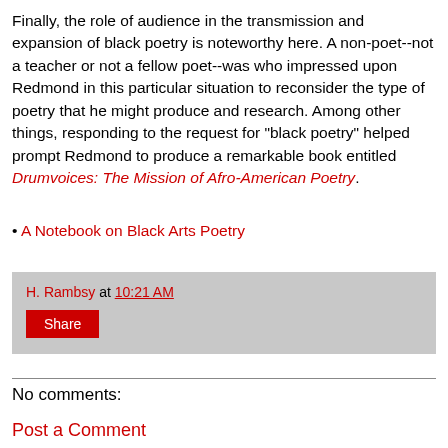Finally, the role of audience in the transmission and expansion of black poetry is noteworthy here. A non-poet--not a teacher or not a fellow poet--was who impressed upon Redmond in this particular situation to reconsider the type of poetry that he might produce and research. Among other things, responding to the request for "black poetry" helped prompt Redmond to produce a remarkable book entitled Drumvoices: The Mission of Afro-American Poetry.
A Notebook on Black Arts Poetry
H. Rambsy at 10:21 AM
Share
No comments:
Post a Comment